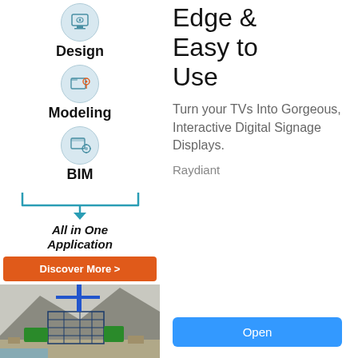[Figure (illustration): Left advertisement column showing icons for Design, Modeling, and BIM with bracket graphic, All in One Application italic text, orange Discover More button, and aerial 3D building model at bottom]
[Figure (illustration): Right advertisement column for Raydiant digital signage with heading Edge & Easy to Use, body text about turning TVs into digital displays, brand name Raydiant, and blue Open button]